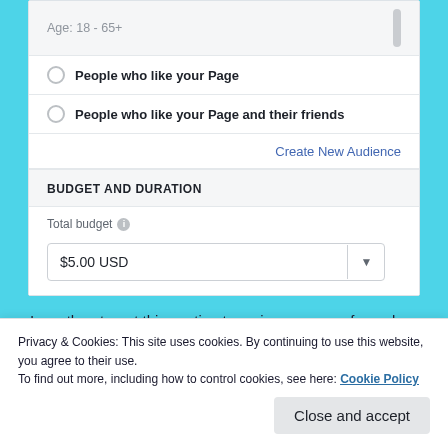Age: 18 - 65+
People who like your Page
People who like your Page and their friends
Create New Audience
BUDGET AND DURATION
Total budget
$5.00 USD
I can then target this posting to various groups of people, in differing locations.
Privacy & Cookies: This site uses cookies. By continuing to use this website, you agree to their use.
To find out more, including how to control cookies, see here: Cookie Policy
Close and accept